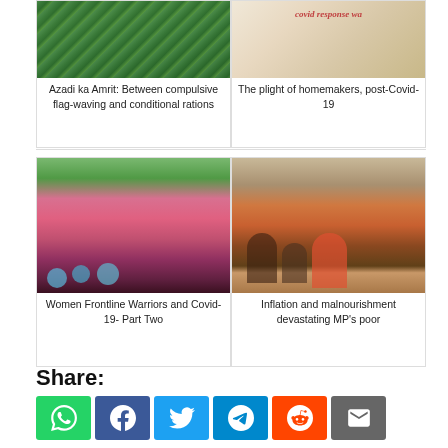[Figure (photo): Article card top-left: photo of person in green feathers/costume with net]
Azadi ka Amrit: Between compulsive flag-waving and conditional rations
[Figure (photo): Article card top-right: illustration/logo for Covid response]
The plight of homemakers, post-Covid-19
[Figure (photo): Article card bottom-left: crowd of women in pink wearing masks, Women Frontline Warriors]
Women Frontline Warriors and Covid-19- Part Two
[Figure (photo): Article card bottom-right: children and adults sitting on ground in poor conditions]
Inflation and malnourishment devastating MP's poor
Share:
[Figure (infographic): Share buttons row: WhatsApp (green), Facebook (blue), Twitter (light blue), Telegram (blue), Reddit (orange), Email (grey)]